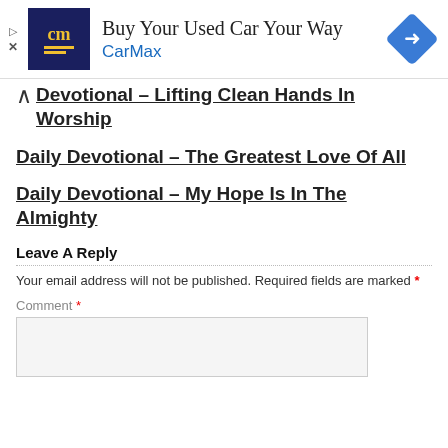[Figure (advertisement): CarMax ad banner with CarMax logo (dark blue with 'cm' text in yellow), headline 'Buy Your Used Car Your Way', brand name 'CarMax' in blue, and a blue diamond navigation icon on the right.]
Devotional – Lifting Clean Hands In Worship
Daily Devotional – The Greatest Love Of All
Daily Devotional – My Hope Is In The Almighty
Leave A Reply
Your email address will not be published. Required fields are marked *
Comment *